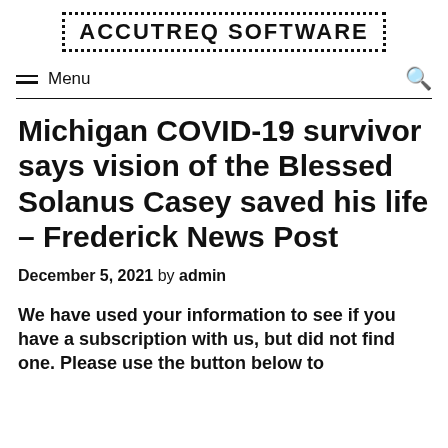ACCUTREQ SOFTWARE
Michigan COVID-19 survivor says vision of the Blessed Solanus Casey saved his life – Frederick News Post
December 5, 2021 by admin
We have used your information to see if you have a subscription with us, but did not find one. Please use the button below to